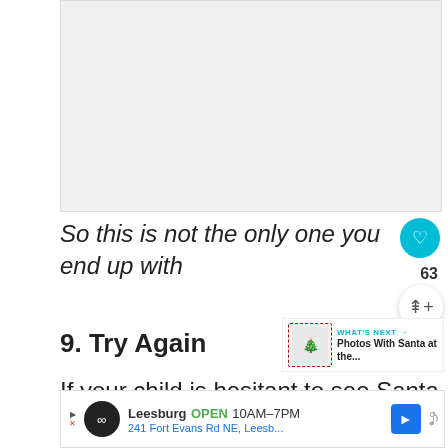[Figure (photo): A photo area (image placeholder) near the top of the page, showing a light grey rectangle representing an embedded image.]
So this is not the only one you end up with
9. Try Again
[Figure (other): A 'What's Next' thumbnail widget showing 'Photos With Santa at the...']
If your child is hesitant to see Santa
[Figure (other): An advertisement bar at the bottom: Leesburg, OPEN 10AM-7PM, 241 Fort Evans Rd NE, Leesb...]